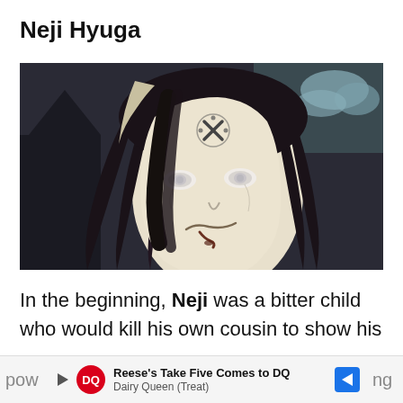Neji Hyuga
[Figure (illustration): Anime illustration of Neji Hyuga from Naruto, showing his face with dark long hair, pale eyes (Byakugan), and a curse mark on his forehead. Dark background with slight blue sky and clouds visible on the right.]
In the beginning, Neji was a bitter child who would kill his own cousin to show his
pow                                                                              ng
Reese's Take Five Comes to DQ Dairy Queen (Treat)